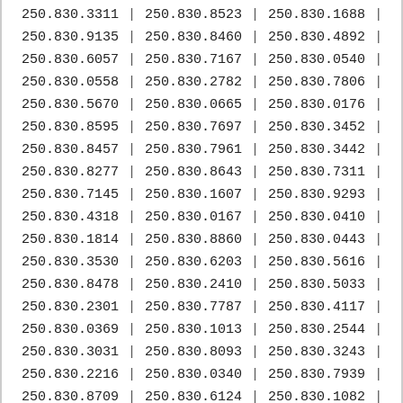| 250.830.3311 | | | 250.830.8523 | | | 250.830.1688 | | |
| 250.830.9135 | | | 250.830.8460 | | | 250.830.4892 | | |
| 250.830.6057 | | | 250.830.7167 | | | 250.830.0540 | | |
| 250.830.0558 | | | 250.830.2782 | | | 250.830.7806 | | |
| 250.830.5670 | | | 250.830.0665 | | | 250.830.0176 | | |
| 250.830.8595 | | | 250.830.7697 | | | 250.830.3452 | | |
| 250.830.8457 | | | 250.830.7961 | | | 250.830.3442 | | |
| 250.830.8277 | | | 250.830.8643 | | | 250.830.7311 | | |
| 250.830.7145 | | | 250.830.1607 | | | 250.830.9293 | | |
| 250.830.4318 | | | 250.830.0167 | | | 250.830.0410 | | |
| 250.830.1814 | | | 250.830.8860 | | | 250.830.0443 | | |
| 250.830.3530 | | | 250.830.6203 | | | 250.830.5616 | | |
| 250.830.8478 | | | 250.830.2410 | | | 250.830.5033 | | |
| 250.830.2301 | | | 250.830.7787 | | | 250.830.4117 | | |
| 250.830.0369 | | | 250.830.1013 | | | 250.830.2544 | | |
| 250.830.3031 | | | 250.830.8093 | | | 250.830.3243 | | |
| 250.830.2216 | | | 250.830.0340 | | | 250.830.7939 | | |
| 250.830.8709 | | | 250.830.6124 | | | 250.830.1082 | | |
| 250.830.8578 | | | 250.830.5478 | | | 250.830.1001 | | |